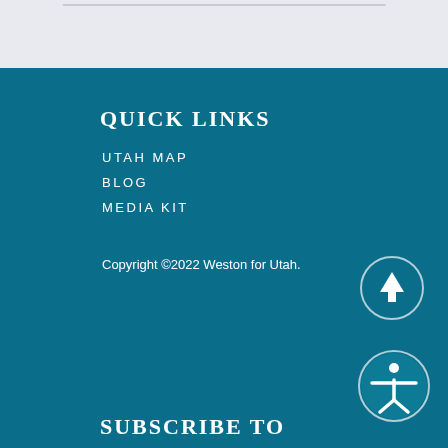QUICK LINKS
UTAH MAP
BLOG
MEDIA KIT
Copyright ©2022 Weston for Utah.
SUBSCRIBE TO